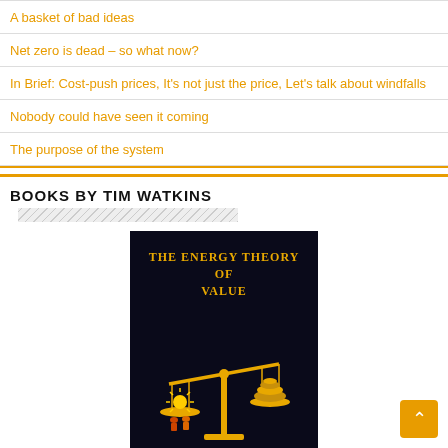A basket of bad ideas
Net zero is dead – so what now?
In Brief: Cost-push prices, It's not just the price, Let's talk about windfalls
Nobody could have seen it coming
The purpose of the system
BOOKS BY TIM WATKINS
[Figure (photo): Book cover of 'The Energy Theory of Value and Its Consequences' by Tim Watkins. Dark background with gold scales of justice illustration and gold title text.]